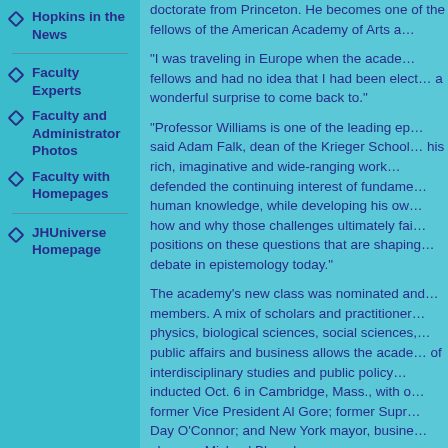Hopkins in the News
Faculty Experts
Faculty and Administrator Photos
Faculty with Homepages
JHUniverse Homepage
doctorate from Princeton. He becomes one of the fellows of the American Academy of Arts a…
"I was traveling in Europe when the academy announced its fellows and had no idea that I had been elected. It was a wonderful surprise to come back to."
"Professor Williams is one of the leading ep… said Adam Falk, dean of the Krieger School… his rich, imaginative and wide-ranging work… defended the continuing interest of fundame… human knowledge, while developing his ow… how and why those challenges ultimately fai… positions on these questions that are shaping… debate in epistemology today."
The academy's new class was nominated and… members. A mix of scholars and practitioner… physics, biological sciences, social sciences,… public affairs and business allows the acade… of interdisciplinary studies and public policy… inducted Oct. 6 in Cambridge, Mass., with o… former Vice President Al Gore; former Supr… Day O'Connor; and New York mayor, busine… alumnus Michael Bloomberg.